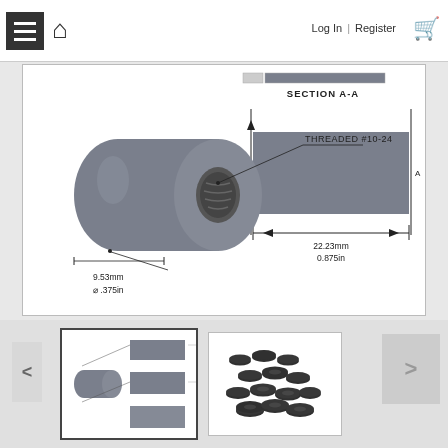Log In | Register
[Figure (engineering-diagram): 3D rendering of a cylindrical threaded standoff/spacer with THREADED #10-24 callout, dimension 9.53mm / 0.375in diameter. Section A-A cross-section view on right showing rectangular profile with dimension 22.23mm / 0.875in length.]
[Figure (photo): Thumbnail image 1: product photo showing cylindrical threaded standoffs with technical drawing overlay]
[Figure (photo): Thumbnail image 2: product photo showing a pile of black nylon threaded standoffs/spacers]